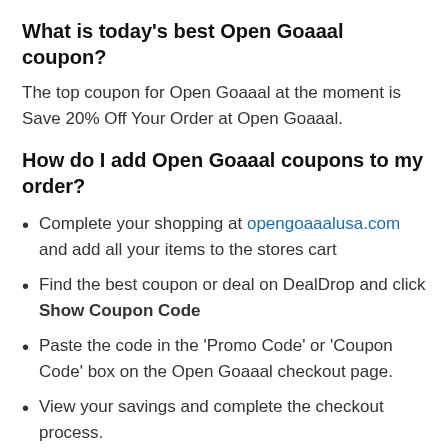What is today's best Open Goaaal coupon?
The top coupon for Open Goaaal at the moment is Save 20% Off Your Order at Open Goaaal.
How do I add Open Goaaal coupons to my order?
Complete your shopping at opengoaaalusa.com and add all your items to the stores cart
Find the best coupon or deal on DealDrop and click Show Coupon Code
Paste the code in the 'Promo Code' or 'Coupon Code' box on the Open Goaaal checkout page.
View your savings and complete the checkout process.
Enjoy your new purchase and the money you've